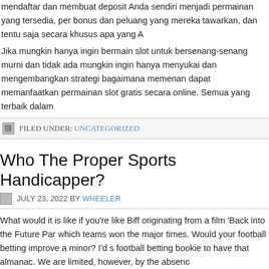mendaftar dan membuat deposit Anda sendiri menjadi permainan yang tersedia, per bonus dan peluang yang mereka tawarkan, dan tentu saja secara khusus apa yang A
Jika mungkin hanya ingin bermain slot untuk bersenang-senang murni dan tidak ada mungkin ingin hanya menyukai dan mengembangkan strategi bagaimana memenant dapat memanfaatkan permainan slot gratis secara online. Semua yang terbaik dalam
FILED UNDER: UNCATEGORIZED
Who The Proper Sports Handicapper?
JULY 23, 2022 BY WHEELER
What would it is like if you're like Biff originating from a film 'Back into the Future Par which teams won the major times. Would your football betting improve a minor? I'd s football betting bookie to have that almanac. We are limited, however, by the absenc
Football live scores wagering like different kind of sports betting is very common. If y enthusiasts, you must know how spot smart bets and get top picks before you invest do you this? First, you require to really be well-versed all around the sports. Recomm history, player and team profiles also their emotional and personal backgrounds the a have a better chance at this big.
You include the capability to sync your league with their website, and it will tell you w